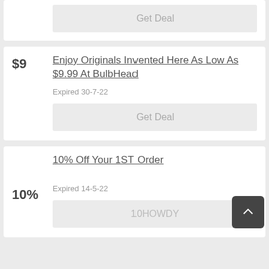Get Deal
Enjoy Originals Invented Here As Low As $9.99 At BulbHead
$9
Expired 30-7-22
Get Deal
10% Off Your 1ST Order
10%
Expired 14-5-22
10HOWDY